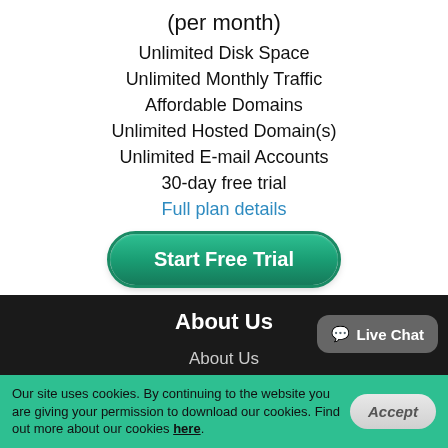(per month)
Unlimited Disk Space
Unlimited Monthly Traffic
Affordable Domains
Unlimited Hosted Domain(s)
Unlimited E-mail Accounts
30-day free trial
Full plan details
Start Free Trial
About Us
About Us
Contacts
Live Chat
Our site uses cookies. By continuing to the website you are giving your permission to download our cookies. Find out more about our cookies here.